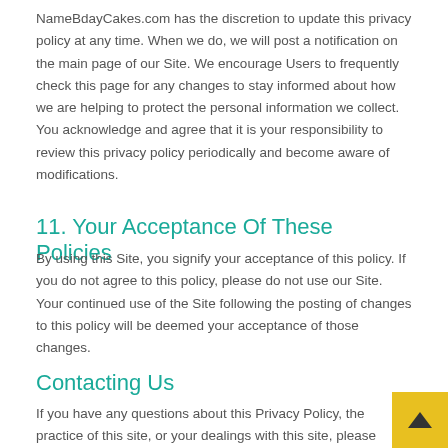NameBdayCakes.com has the discretion to update this privacy policy at any time. When we do, we will post a notification on the main page of our Site. We encourage Users to frequently check this page for any changes to stay informed about how we are helping to protect the personal information we collect. You acknowledge and agree that it is your responsibility to review this privacy policy periodically and become aware of modifications.
11. Your Acceptance Of These Policies
By using this Site, you signify your acceptance of this policy. If you do not agree to this policy, please do not use our Site. Your continued use of the Site following the posting of changes to this policy will be deemed your acceptance of those changes.
Contacting Us
If you have any questions about this Privacy Policy, the practices of this site, or your dealings with this site, please contact us at: